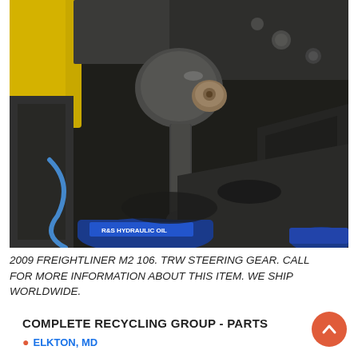[Figure (photo): Close-up photograph of a TRW steering gear component removed from a 2009 Freightliner M2 106 truck, sitting on a workshop surface with hydraulic oil container visible at the bottom.]
2009 FREIGHTLINER M2 106. TRW STEERING GEAR. CALL FOR MORE INFORMATION ABOUT THIS ITEM. WE SHIP WORLDWIDE.
COMPLETE RECYCLING GROUP - PARTS
ELKTON, MD